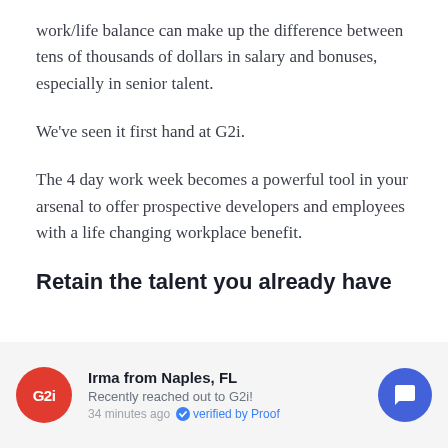work/life balance can make up the difference between tens of thousands of dollars in salary and bonuses, especially in senior talent.
We've seen it first hand at G2i.
The 4 day work week becomes a powerful tool in your arsenal to offer prospective developers and employees with a life changing workplace benefit.
Retain the talent you already have
Irma from Naples, FL
Recently reached out to G2i!
34 minutes ago  verified by Proof